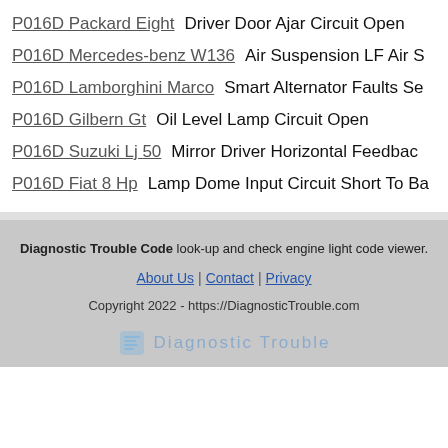P016D Packard Eight   Driver Door Ajar Circuit Open
P016D Mercedes-benz W136   Air Suspension LF Air S
P016D Lamborghini Marco   Smart Alternator Faults Se
P016D Gilbern Gt   Oil Level Lamp Circuit Open
P016D Suzuki Lj 50   Mirror Driver Horizontal Feedback
P016D Fiat 8 Hp   Lamp Dome Input Circuit Short To Ba
Diagnostic Trouble Code look-up and check engine light code viewer.
About Us | Contact | Privacy
Copyright 2022 - https://DiagnosticTrouble.com
Diagnostic Trouble